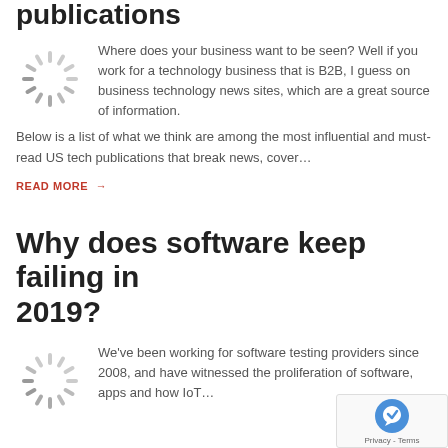publications
[Figure (illustration): Spinner/loading circle icon (gray radial lines)]
Where does your business want to be seen? Well if you work for a technology business that is B2B, I guess on business technology news sites, which are a great source of information. Below is a list of what we think are among the most influential and must-read US tech publications that break news, cover…
READ MORE →
Why does software keep failing in 2019?
[Figure (illustration): Spinner/loading circle icon (gray radial lines)]
We've been working for software testing providers since 2008, and have witnessed the proliferation of software, apps and how IoT…